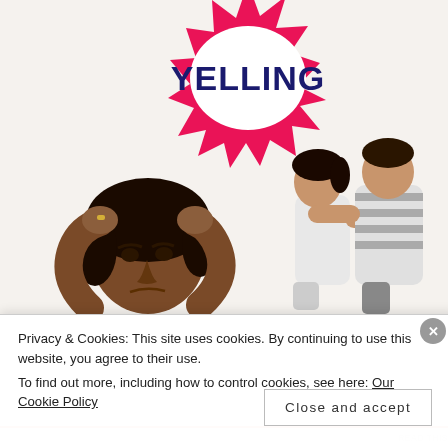[Figure (illustration): A stressed woman with hands on her head in the foreground (dark hair, black top), and two children in the background appearing to fight or argue. Above them is a comic-book style burst graphic with the word 'YELLING' in bold dark blue letters on a red-and-white spiky burst shape.]
Privacy & Cookies: This site uses cookies. By continuing to use this website, you agree to their use.
To find out more, including how to control cookies, see here: Our Cookie Policy
Close and accept